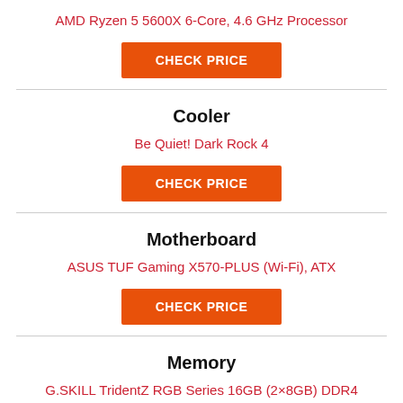AMD Ryzen 5 5600X 6-Core, 4.6 GHz Processor
CHECK PRICE
Cooler
Be Quiet! Dark Rock 4
CHECK PRICE
Motherboard
ASUS TUF Gaming X570-PLUS (Wi-Fi), ATX
CHECK PRICE
Memory
G.SKILL TridentZ RGB Series 16GB (2×8GB) DDR4